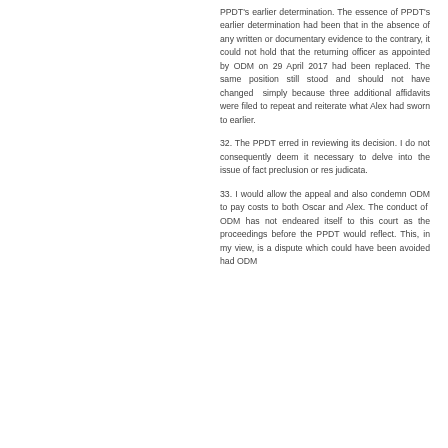PPDT's earlier determination. The essence of PPDT's earlier determination had been that in the absence of any written or documentary evidence to the contrary, it could not hold that the returning officer as appointed by ODM on 29 April 2017 had been replaced. The same position still stood and should not have changed simply because three additional affidavits were filed to repeat and reiterate what Alex had sworn to earlier.
32. The PPDT erred in reviewing its decision. I do not consequently deem it necessary to delve into the issue of fact preclusion or res judicata.
33. I would allow the appeal and also condemn ODM to pay costs to both Oscar and Alex. The conduct of ODM has not endeared itself to this court as the proceedings before the PPDT would reflect. This, in my view, is a dispute which could have been avoided had ODM